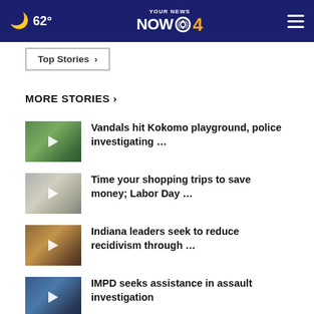62° YOUR NEWS NOW CBS 4
Top Stories ›
MORE STORIES ›
Vandals hit Kokomo playground, police investigating …
Time your shopping trips to save money; Labor Day …
Indiana leaders seek to reduce recidivism through …
IMPD seeks assistance in assault investigation
'Really violating': Sacred Rose attendees wake up